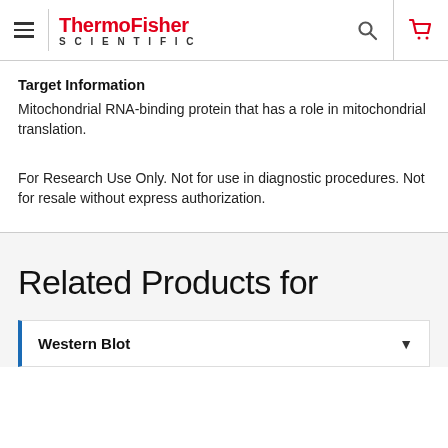ThermoFisher SCIENTIFIC
Target Information
Mitochondrial RNA-binding protein that has a role in mitochondrial translation.
For Research Use Only. Not for use in diagnostic procedures. Not for resale without express authorization.
Related Products for
Western Blot